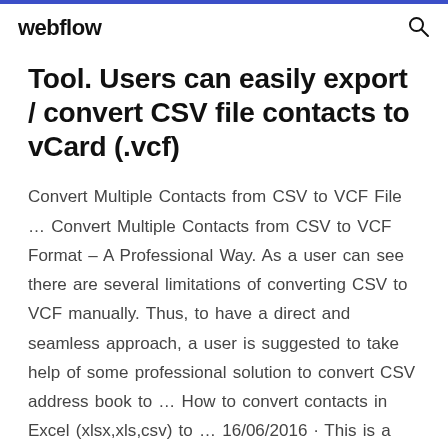webflow
Tool. Users can easily export / convert CSV file contacts to vCard (.vcf)
Convert Multiple Contacts from CSV to VCF File … Convert Multiple Contacts from CSV to VCF Format – A Professional Way. As a user can see there are several limitations of converting CSV to VCF manually. Thus, to have a direct and seamless approach, a user is suggested to take help of some professional solution to convert CSV address book to … How to convert contacts in Excel (xlsx,xls,csv) to … 16/06/2016 · This is a video tutorial on how to use simple online converter to convert your contact data